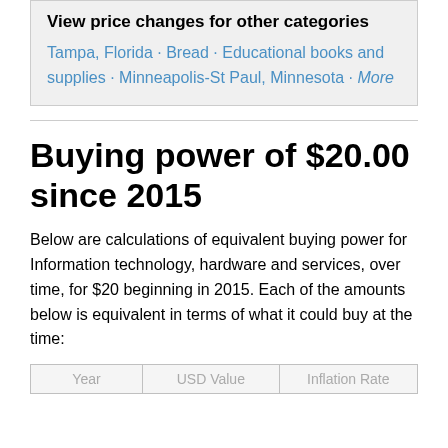View price changes for other categories
Tampa, Florida · Bread · Educational books and supplies · Minneapolis-St Paul, Minnesota · More
Buying power of $20.00 since 2015
Below are calculations of equivalent buying power for Information technology, hardware and services, over time, for $20 beginning in 2015. Each of the amounts below is equivalent in terms of what it could buy at the time:
| Year | USD Value | Inflation Rate |
| --- | --- | --- |